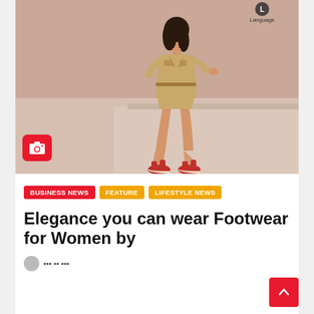[Figure (photo): A woman in a beige safari romper sitting on a platform, wearing red wedge sandals, with a beige/rose background. Language brand logo in top right corner.]
BUSINESS NEWS
FEATURE
LIFESTYLE NEWS
Elegance you can wear Footwear for Women by